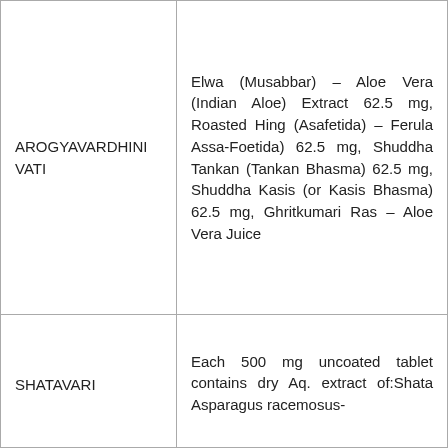| Drug Name | Composition |
| --- | --- |
| AROGYAVARDHINI VATI | Elwa (Musabbar) – Aloe Vera (Indian Aloe) Extract 62.5 mg, Roasted Hing (Asafetida) – Ferula Assa-Foetida) 62.5 mg, Shuddha Tankan (Tankan Bhasma) 62.5 mg, Shuddha Kasis (or Kasis Bhasma) 62.5 mg, Ghritkumari Ras – Aloe Vera Juice |
| SHATAVARI | Each 500 mg uncoated tablet contains dry Aq. extract of:Shata Asparagus racemosus- |